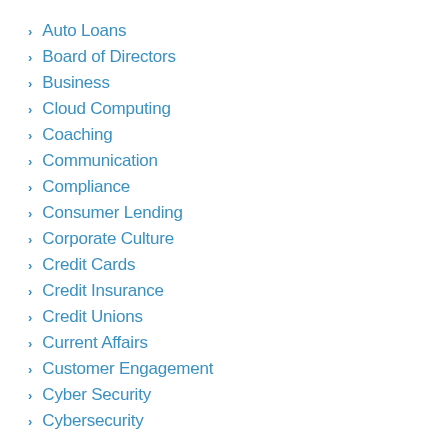Auto Loans
Board of Directors
Business
Cloud Computing
Coaching
Communication
Compliance
Consumer Lending
Corporate Culture
Credit Cards
Credit Insurance
Credit Unions
Current Affairs
Customer Engagement
Cyber Security
Cybersecurity